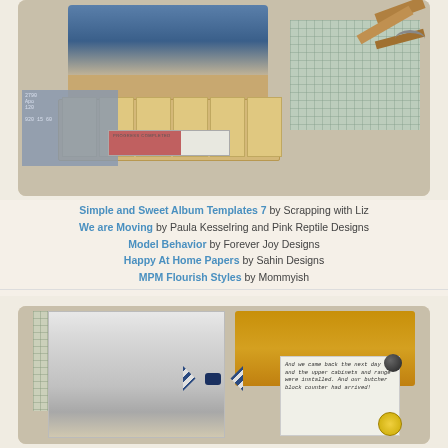[Figure (photo): Scrapbook-style collage showing kitchen renovation under construction — cabinets being installed, blueprints, a progress bar graphic, wooden materials, and a blue-toned room photo]
Simple and Sweet Album Templates 7 by Scrapping with Liz
We are Moving by Paula Kesselring and Pink Reptile Designs
Model Behavior by Forever Joy Designs
Happy At Home Papers by Sahin Designs
MPM Flourish Styles by Mommyish
[Figure (photo): Scrapbook-style collage showing a finished kitchen renovation — white cabinets installed, wood countertop, a striped bowtie ribbon, a handwritten note card, and a lemon/circle embellishment]